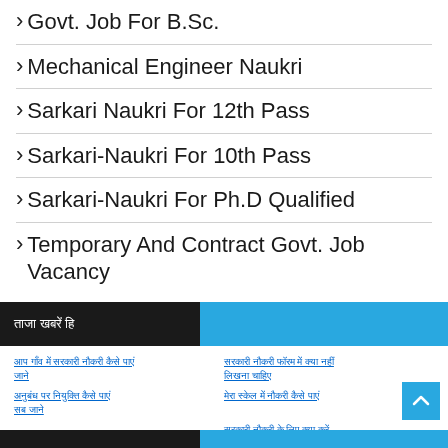> Govt. Job For B.Sc.
> Mechanical Engineer Naukri
> Sarkari Naukri For 12th Pass
> Sarkari-Naukri For 10th Pass
> Sarkari-Naukri For Ph.D Qualified
> Temporary And Contract Govt. Job Vacancy
ताजा खबरें हिंदी
[Hindi link 1 col1] [Hindi link 1 col2] [Hindi link 2 col1] [Hindi link 2 col2] [Hindi link 3 col2] More from HindiDiary.com [Hindi link 4 col2]